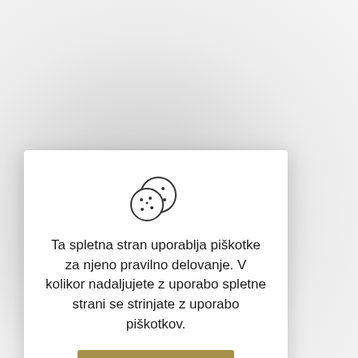[Figure (illustration): Cookie icon: two overlapping cookie circles with dots/chips, outline style]
Ta spletna stran uporablja piškotke za njeno pravilno delovanje. V kolikor nadaljujete z uporabo spletne strani se strinjate z uporabo piškotkov.
Sprejmem
Preberi več